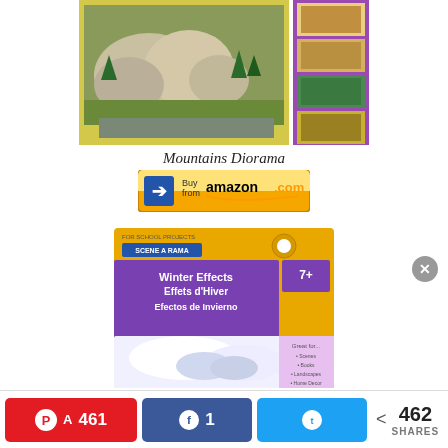[Figure (photo): Mountains Diorama product box showing rocky mountain terrain model with trees and greenery, with four small step-by-step images on the right side]
Mountains Diorama
[Figure (screenshot): Buy from amazon.com button with blue arrow icon and orange/yellow gradient background]
[Figure (photo): Scene-A-Rama Winter Effects product box in yellow and purple, showing white snow-like material with gloved hands. Text: Winter Effects / Effets d'Hiver / Efectos de Invierno, age 7+]
[Figure (infographic): Social share bar at bottom: Pinterest 461, Facebook 1, Twitter share button, total 462 SHARES]